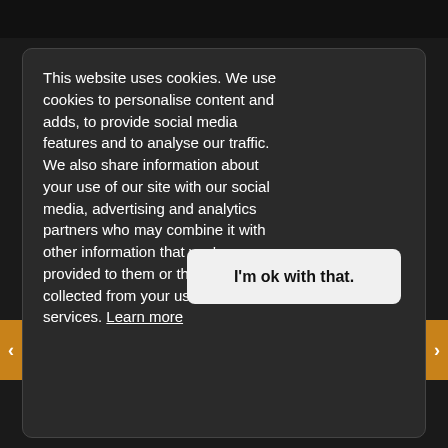This website uses cookies. We use cookies to personalise content and adds, to provide social media features and to analyse our traffic. We also share information about your use of our site with our social media, advertising and analytics partners who may combine it with other information that you've provided to them or that they've collected from your use of their services. Learn more
I'm ok with that.